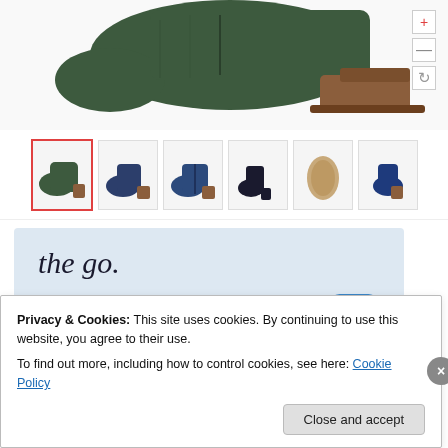[Figure (photo): Green suede ankle boot product image, top view cropped, with brown wooden heel, shown on white background. Zoom controls (+, -, rotate) visible on right side.]
[Figure (photo): Thumbnail strip showing 6 different views of ankle boots: first thumbnail (selected, red border) shows green suede boot from side, second shows navy/brown boot from side, third shows navy boot with zipper, fourth shows navy boot silhouette, fifth shows bottom sole view, sixth shows navy boot from back.]
[Figure (screenshot): App promotion banner with light blue background showing text 'the go.' in italic serif font and 'GET THE APP' in blue underlined uppercase, with WordPress circular logo icon on the right.]
Privacy & Cookies: This site uses cookies. By continuing to use this website, you agree to their use.
To find out more, including how to control cookies, see here: Cookie Policy
Close and accept